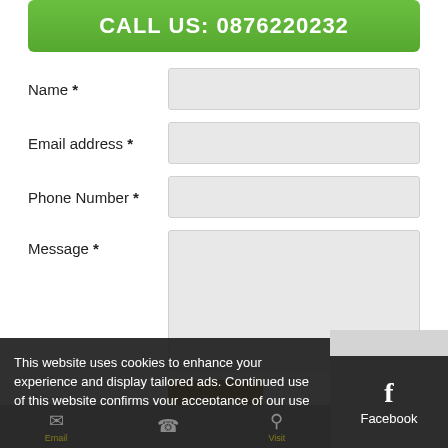CALL US: 0876220232
Name *
Email address *
Phone Number *
Message *
Send
This website uses cookies to enhance your experience and display tailored ads. Continued use of this website confirms your acceptance of our use of cookies.
Agree
Facebook